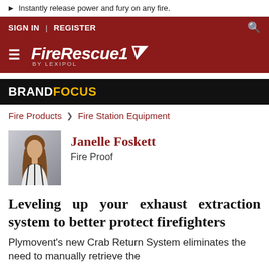▶ Instantly release power and fury on any fire.
SIGN IN | REGISTER
[Figure (logo): FireRescue1 by Lexipol logo on dark red background with hamburger menu icon]
BRANDFOCUS
Fire Products > Fire Station Equipment
[Figure (photo): Headshot photo of Janelle Foskett, a woman with long brown hair]
Janelle Foskett
Fire Proof
Leveling up your exhaust extraction system to better protect firefighters
Plymovent's new Crab Return System eliminates the need to manually retrieve the